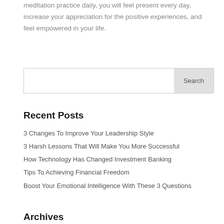meditation practice daily, you will feel present every day, increase your appreciation for the positive experiences, and feel empowered in your life.
Search
Recent Posts
3 Changes To Improve Your Leadership Style
3 Harsh Lessons That Will Make You More Successful
How Technology Has Changed Investment Banking
Tips To Achieving Financial Freedom
Boost Your Emotional Intelligence With These 3 Questions
Archives